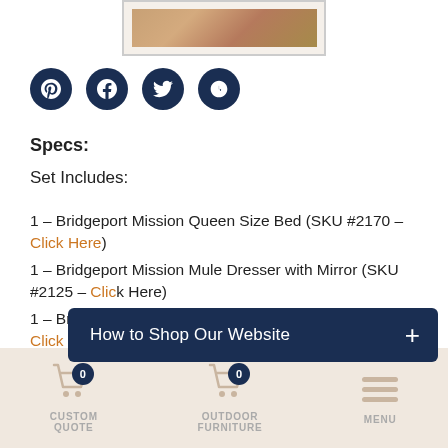[Figure (photo): Product photo of Bridgeport Mission bedroom furniture set shown in a framed thumbnail]
[Figure (infographic): Social sharing icons: Pinterest, Facebook, Twitter, and a fourth sharing icon — all dark navy circular buttons]
Specs:
Set Includes:
1 – Bridgeport Mission Queen Size Bed (SKU #2170 – Click Here)
1 – Bridgeport Mission Mule Dresser with Mirror (SKU #2125 – Click Here)
1 – Bridgeport Mission Nightstand (SKU #... – Click Here)
[Figure (infographic): Dark navy overlay button reading 'How to Shop Our Website' with a plus icon]
CUSTOM QUOTE   OUTDOOR FURNITURE   MENU — bottom navigation bar with cart icons showing 0 items